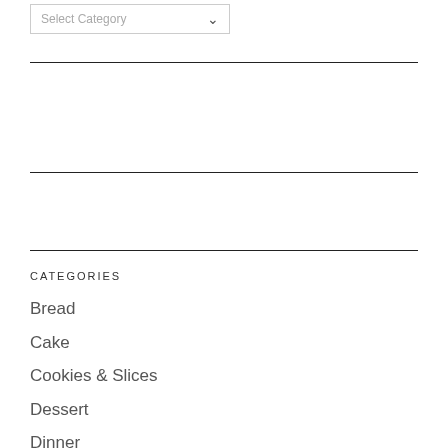Select Category
CATEGORIES
Bread
Cake
Cookies & Slices
Dessert
Dinner